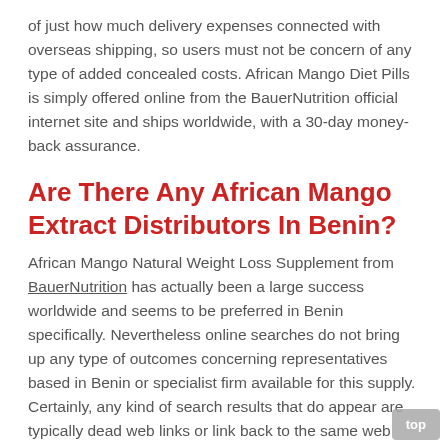of just how much delivery expenses connected with overseas shipping, so users must not be concern of any type of added concealed costs. African Mango Diet Pills is simply offered online from the BauerNutrition official internet site and ships worldwide, with a 30-day money-back assurance.
Are There Any African Mango Extract Distributors In Benin?
African Mango Natural Weight Loss Supplement from BauerNutrition has actually been a large success worldwide and seems to be preferred in Benin specifically. Nevertheless online searches do not bring up any type of outcomes concerning representatives based in Benin or specialist firm available for this supply. Certainly, any kind of search results that do appear are typically dead web links or link back to the same web